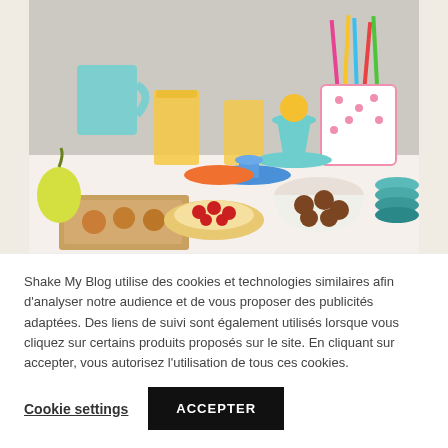[Figure (photo): Photo of a colorful table setting with cake stands, mugs, juice glasses, pastries, fruits, colorful straws, and dessert items arranged on a white table]
BLOG DIY
DIY DECO
Des cakestand multicolores DIY
26 JANVIER 2012
Shake My Blog utilise des cookies et technologies similaires afin d'analyser notre audience et de vous proposer des publicités adaptées. Des liens de suivi sont également utilisés lorsque vous cliquez sur certains produits proposés sur le site. En cliquant sur accepter, vous autorisez l'utilisation de tous ces cookies.
Cookie settings
ACCEPTER